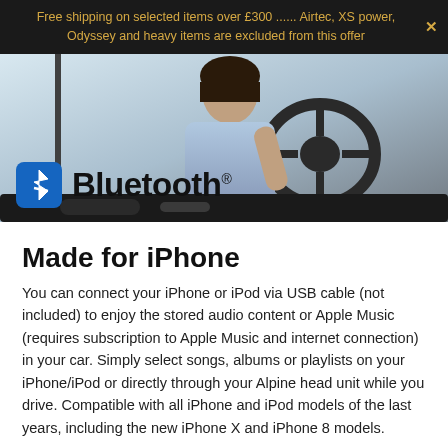Free shipping on selected items over £300 ...... Airtec, XS power, Odyssey and heavy items are excluded from this offer
[Figure (photo): A person driving a car with a Bluetooth logo overlaid on the lower left of the image.]
Made for iPhone
You can connect your iPhone or iPod via USB cable (not included) to enjoy the stored audio content or Apple Music (requires subscription to Apple Music and internet connection) in your car. Simply select songs, albums or playlists on your iPhone/iPod or directly through your Alpine head unit while you drive. Compatible with all iPhone and iPod models of the last years, including the new iPhone X and iPhone 8 models.
Make Calls